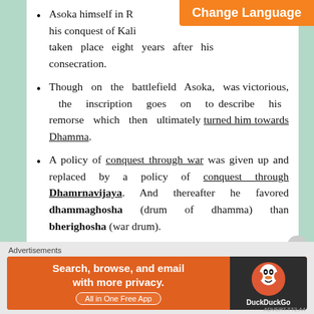[Figure (screenshot): Orange 'Change Language' banner button overlaid on the top-right area of the page content]
Asoka himself in [clipped] his conquest of Kali[clipped] taken place eight years after his consecration.
Though on the battlefield Asoka, was victorious, the inscription goes on to describe his remorse which then ultimately turned him towards Dhamma.
A policy of conquest through war was given up and replaced by a policy of conquest through Dhamrnavijaya. And thereafter he favored dhammaghosha (drum of dhamma) than bherighosha (war drum).
This was meant to work both at the State and personal levels, and totally transformed the attitude of the king and his officials towards their subjects.
Historian Romila Thapar presents the view that
Advertisements
[Figure (screenshot): DuckDuckGo advertisement banner: 'Search, browse, and email with more privacy. All in One Free App' with DuckDuckGo logo on dark background]